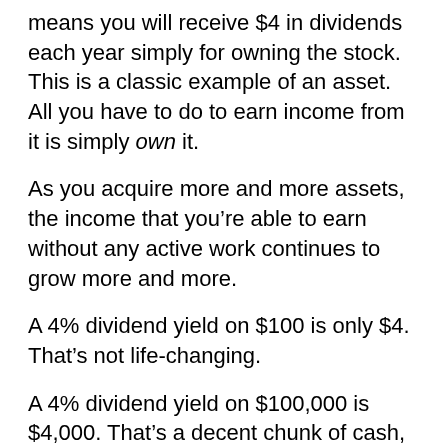means you will receive $4 in dividends each year simply for owning the stock. This is a classic example of an asset. All you have to do to earn income from it is simply own it.
As you acquire more and more assets, the income that you’re able to earn without any active work continues to grow more and more.
A 4% dividend yield on $100 is only $4. That’s not life-changing.
A 4% dividend yield on $100,000 is $4,000. That’s a decent chunk of cash, but still not necessarily life-changing.
A 4% dividend yield on $1 million is $40,000. That’s life-changing for most people.